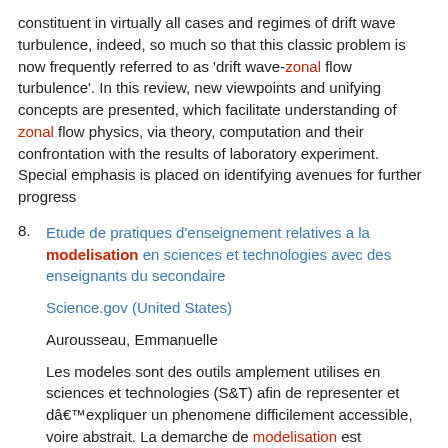constituent in virtually all cases and regimes of drift wave turbulence, indeed, so much so that this classic problem is now frequently referred to as 'drift wave-zonal flow turbulence'. In this review, new viewpoints and unifying concepts are presented, which facilitate understanding of zonal flow physics, via theory, computation and their confrontation with the results of laboratory experiment. Special emphasis is placed on identifying avenues for further progress
8. Etude de pratiques d'enseignement relatives a la modelisation en sciences et technologies avec des enseignants du secondaire
Science.gov (United States)
Aurousseau, Emmanuelle
Les modeles sont des outils amplement utilises en sciences et technologies (S&T) afin de representer et dâ€™expliquer un phenomene difficilement accessible, voire abstrait. La demarche de modelisation est presentee de maniere explicite dans le programme de formation de lâ€™ecole quebecoise (PFEQ), notamment au 2eme cycle du secondaire (Quebec.